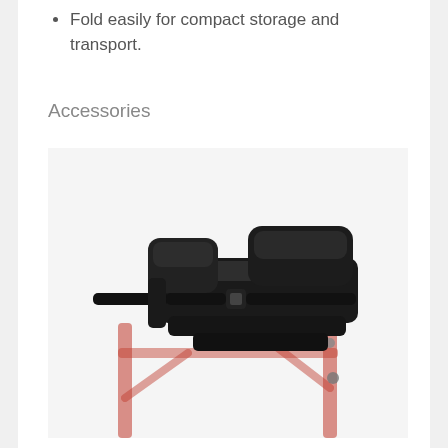Fold easily for compact storage and transport.
Accessories
[Figure (photo): A black forearm platform / trough accessory with padded arm rest cushions and adjustable straps, shown attached to a red rollator walker frame.]